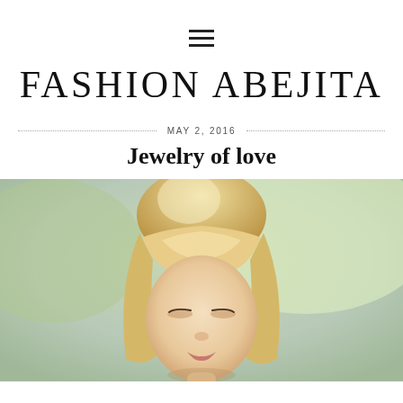≡
FASHION ABEJITA
MAY 2, 2016
Jewelry of love
[Figure (photo): A blonde woman with bangs, hair up in a bun, looking downward, photographed outdoors with a soft green blurred background]